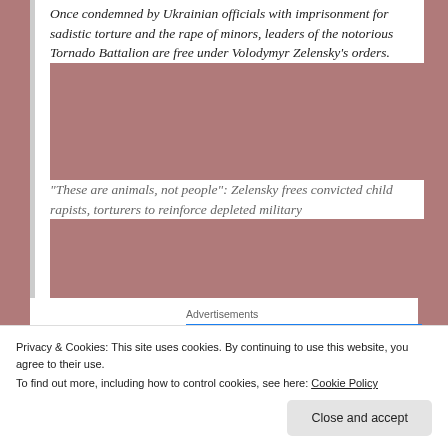Once condemned by Ukrainian officials with imprisonment for sadistic torture and the rape of minors, leaders of the notorious Tornado Battalion are free under Volodymyr Zelensky's orders.
"These are animals, not people": Zelensky frees convicted child rapists, torturers to reinforce depleted military
[Figure (screenshot): Blue advertisement banner reading 'Need Speed?' with a figure of a person jumping/running on the right side]
Related:
Privacy & Cookies: This site uses cookies. By continuing to use this website, you agree to their use.
To find out more, including how to control cookies, see here: Cookie Policy
Close and accept